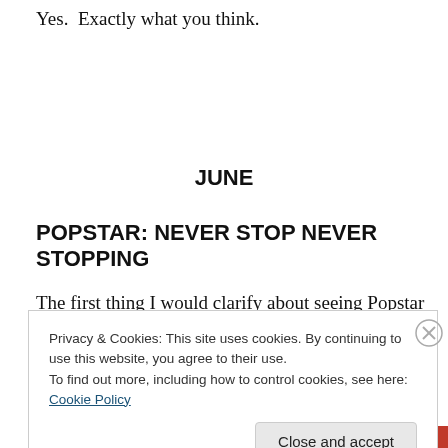Yes.  Exactly what you think.
JUNE
POPSTAR: NEVER STOP NEVER STOPPING
The first thing I would clarify about seeing Popstar is that I didn't want to.  Someone had to suggest it to me.  The
Privacy & Cookies: This site uses cookies. By continuing to use this website, you agree to their use.
To find out more, including how to control cookies, see here: Cookie Policy
Close and accept